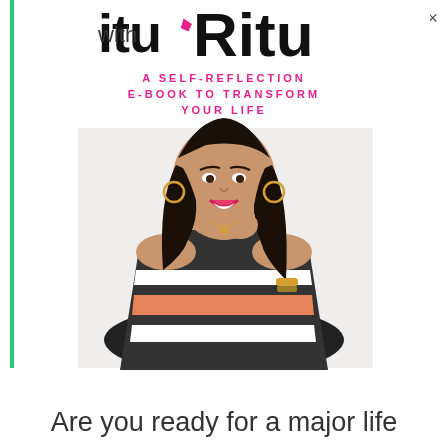[Figure (illustration): Book cover for a self-reflection e-book 'with Ritu' featuring a woman in a striped off-shoulder top, smiling, with hand near chin. The cover has a white background with the title at the top in black and subtitle in pink capital letters. A green vertical accent line is on the left side. An X close button is in the top right corner.]
Are you ready for a major life